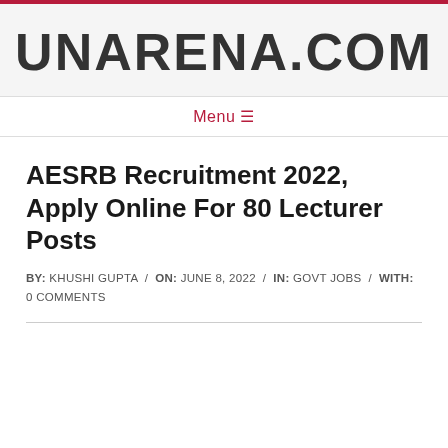UNARENA.COM
Menu ☰
AESRB Recruitment 2022, Apply Online For 80 Lecturer Posts
BY: KHUSHI GUPTA / ON: JUNE 8, 2022 / IN: GOVT JOBS / WITH: 0 COMMENTS